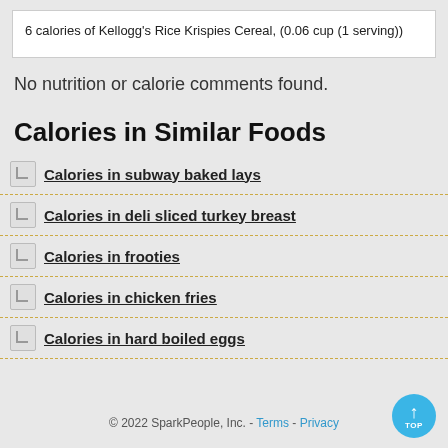6 calories of Kellogg's Rice Krispies Cereal, (0.06 cup (1 serving))
No nutrition or calorie comments found.
Calories in Similar Foods
Calories in subway baked lays
Calories in deli sliced turkey breast
Calories in frooties
Calories in chicken fries
Calories in hard boiled eggs
© 2022 SparkPeople, Inc. - Terms - Privacy